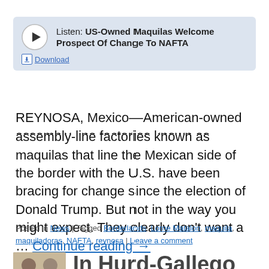[Figure (other): Audio player widget with play button and title: Listen: US-Owned Maquilas Welcome Prospect Of Change To NAFTA, with a Download link below]
REYNOSA, Mexico—American-owned assembly-line factories known as maquilas that line the Mexican side of the border with the U.S. have been bracing for change since the election of Donald Trump. But not in the way you might expect. They clearly don't want a … Continue reading →
Posted in News | Tagged Borderlands, Lorne Matalon, maquila, maquiladoras, NAFTA, reynosa | Leave a comment
[Figure (photo): Photo of two men in suits]
In Hurd-Gallego